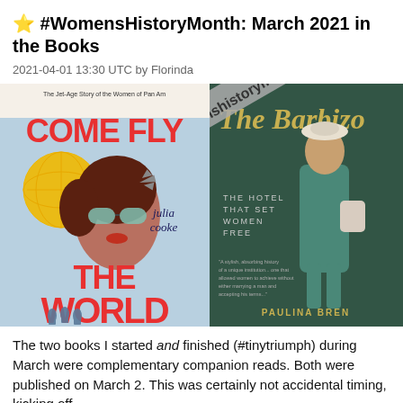⭐ #WomensHistoryMonth: March 2021 in the Books
2021-04-01 13:30 UTC by Florinda
[Figure (photo): Two book covers side by side with a diagonal #womenshistorymonth banner across them. Left book: 'Come Fly the World – The Jet-Age Story of the Women of Pan Am' by Julia Cooke, showing a retro woman in cat-eye sunglasses. Right book: 'The Barbizon – The Hotel That Set Women Free' by Paulina Bren, showing an elegant woman in a teal suit.]
The two books I started and finished (#tinytriumph) during March were complementary companion reads. Both were published on March 2. This was certainly not accidental timing, kicking off